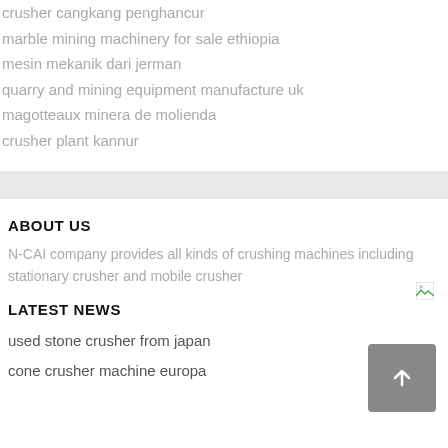crusher cangkang penghancur
marble mining machinery for sale ethiopia
mesin mekanik dari jerman
quarry and mining equipment manufacture uk
magotteaux minera de molienda
crusher plant kannur
ABOUT US
N-CAI company provides all kinds of crushing machines including stationary crusher and mobile crusher
LATEST NEWS
used stone crusher from japan
cone crusher machine europa